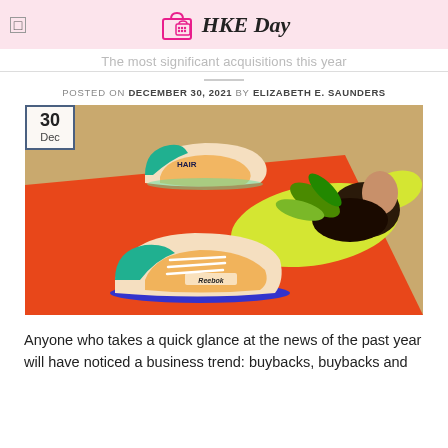HKE Day
The most significant acquisitions this year
POSTED ON DECEMBER 30, 2021 BY ELIZABETH E. SAUNDERS
[Figure (photo): Person lying on an orange beach towel on sand, wearing a yellow outfit, with colorful Reebok sneakers placed nearby. A date badge showing '30 Dec' appears in the top-left corner of the image.]
Anyone who takes a quick glance at the news of the past year will have noticed a business trend: buybacks, buybacks and